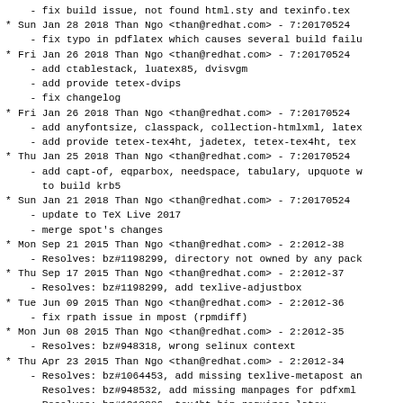- fix build issue, not found html.sty and texinfo.tex
* Sun Jan 28 2018 Than Ngo <than@redhat.com> - 7:20170524
  - fix typo in pdflatex which causes several build failu
* Fri Jan 26 2018 Than Ngo <than@redhat.com> - 7:20170524
  - add ctablestack, luatex85, dvisvgm
  - add provide tetex-dvips
  - fix changelog
* Fri Jan 26 2018 Than Ngo <than@redhat.com> - 7:20170524
  - add anyfontsize, classpack, collection-htmlxml, latex
  - add provide tetex-tex4ht, jadetex, tetex-tex4ht, tex
* Thu Jan 25 2018 Than Ngo <than@redhat.com> - 7:20170524
  - add capt-of, eqparbox, needspace, tabulary, upquote w
    to build krb5
* Sun Jan 21 2018 Than Ngo <than@redhat.com> - 7:20170524
  - update to TeX Live 2017
  - merge spot's changes
* Mon Sep 21 2015 Than Ngo <than@redhat.com> - 2:2012-38
  - Resolves: bz#1198299, directory not owned by any pack
* Thu Sep 17 2015 Than Ngo <than@redhat.com> - 2:2012-37
  - Resolves: bz#1198299, add texlive-adjustbox
* Tue Jun 09 2015 Than Ngo <than@redhat.com> - 2:2012-36
  - fix rpath issue in mpost (rpmdiff)
* Mon Jun 08 2015 Than Ngo <than@redhat.com> - 2:2012-35
  - Resolves: bz#948318, wrong selinux context
* Thu Apr 23 2015 Than Ngo <than@redhat.com> - 2:2012-34
  - Resolves: bz#1064453, add missing texlive-metapost an
    Resolves: bz#948532, add missing manpages for pdfxml
    Resolves: bz#1213886, tex4ht-bin requires latex
    Resolves: bz#1217556, port for poppler-0.26.5
    Resolves: bz#1035679, scriptlet errors when installin
  - Resolves: bz#1194037, add texlive-titlin